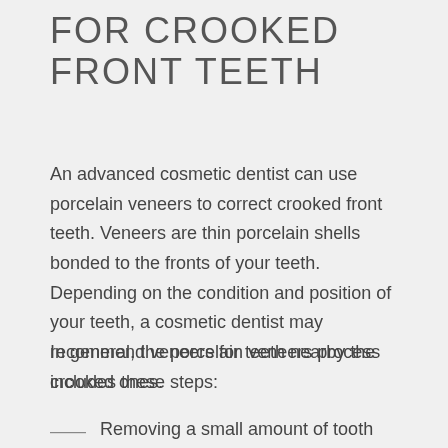FOR CROOKED FRONT TEETH
An advanced cosmetic dentist can use porcelain veneers to correct crooked front teeth. Veneers are thin porcelain shells bonded to the fronts of your teeth. Depending on the condition and position of your teeth, a cosmetic dentist may recommend veneers for teeth nearby the crooked ones.
In general, the porcelain veneers process includes these steps:
Removing a small amount of tooth enamel for